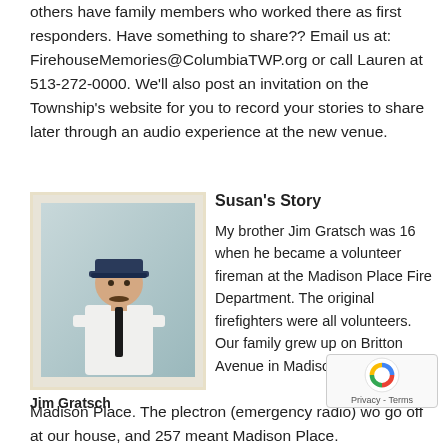others have family members who worked there as first responders. Have something to share?? Email us at: FirehouseMemories@ColumbiaTWP.org or call Lauren at 513-272-0000. We'll also post an invitation on the Township's website for you to record your stories to share later through an audio experience at the new venue.
[Figure (photo): Photograph of a young man in a white short-sleeve fire department uniform with a dark tie and dark cap, standing in front of a light blue background. Appears to be an old Polaroid-style photo.]
Jim Gratsch
Susan's Story
My brother Jim Gratsch was 16 when he became a volunteer fireman at the Madison Place Fire Department. The original firefighters were all volunteers. Our family grew up on Britton Avenue in Madison Place. The plectron (emergency radio) wo go off at our house, and 257 meant Madison Place.